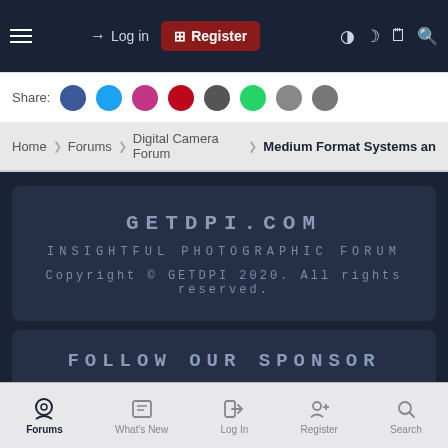Log in | Register — navigation bar with hamburger menu and icons
Share:
Home > Forums > Digital Camera Forum > Medium Format Systems an
GETDPI.COM
INSIGHTFUL PHOTOGRAPHIC FORUM
Copyright © GETDPI 2020. All rights reserved.
FOLLOW OUR SPONSOR
site: www.mediumformat.com
Forums | What's New | Log In | Register | Search